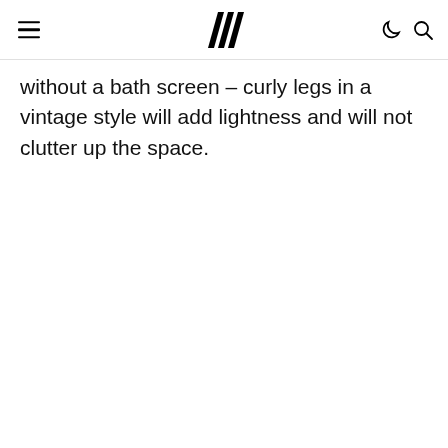[navigation bar with hamburger menu, logo, dark mode and search icons]
without a bath screen – curly legs in a vintage style will add lightness and will not clutter up the space.